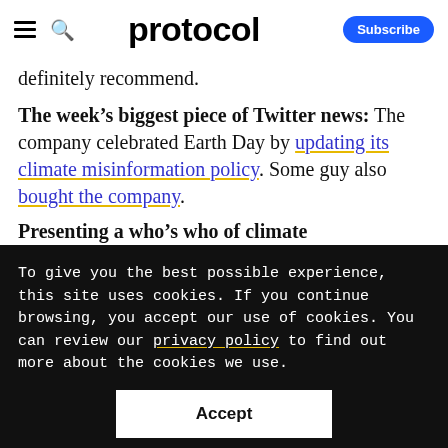protocol
definitely recommend.
The week's biggest piece of Twitter news: The company celebrated Earth Day by updating its climate misinformation policy. Some guy also bought the company.
Presenting a who's who of climate
To give you the best possible experience, this site uses cookies. If you continue browsing, you accept our use of cookies. You can review our privacy policy to find out more about the cookies we use.
Accept